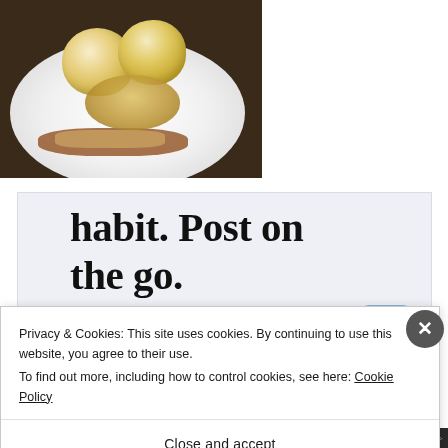[Figure (photo): Photo of two scoops of vanilla ice cream with caramel sauce and nuts in a white bowl/plate, taken from above at slight angle. Dark background partially visible at top.]
[Figure (screenshot): WordPress mobile app advertisement banner with large bold serif text reading 'habit. Post on the go.' in dark color on light gray background, with 'GET THE APP' link and WordPress circular logo icon in blue on the right.]
Privacy & Cookies: This site uses cookies. By continuing to use this website, you agree to their use.
To find out more, including how to control cookies, see here: Cookie Policy
Close and accept